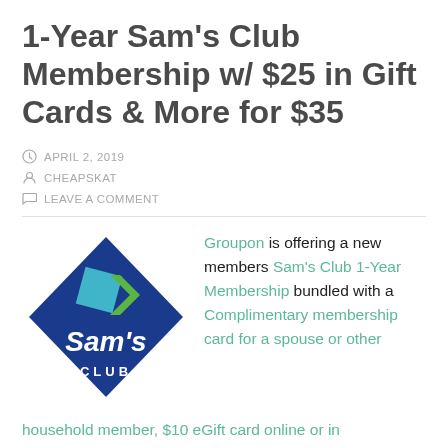1-Year Sam's Club Membership w/ $25 in Gift Cards & More for $35
APRIL 2, 2019
CHEAPSKAT
LEAVE A COMMENT
[Figure (logo): Sam's Club logo: blue diamond shape with teal and green geometric accents and white text reading Sam's CLUB]
Groupon is offering a new members Sam's Club 1-Year Membership bundled with a Complimentary membership card for a spouse or other household member, $10 eGift card online or in